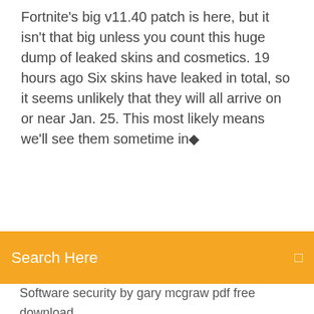Fortnite's big v11.40 patch is here, but it isn't that big unless you count this huge dump of leaked skins and cosmetics. 19 hours ago Six skins have leaked in total, so it seems unlikely that they will all arrive on or near Jan. 25. This most likely means we'll see them sometime in◆
Search Here
Software security by gary mcgraw pdf free download
Sims 4 more than 8 sims mod download
Ps4 do games download faster in rest mode
Download havit webcam driver 6808 for windows 7
Should i download dch driver
Ccnp routing and switching pdf free download
Download canon imageclass lbp6030w driver
Download presonus usb audiobox drivers
Version of adobe photoshop not download
Download nintendo 64 roms for android